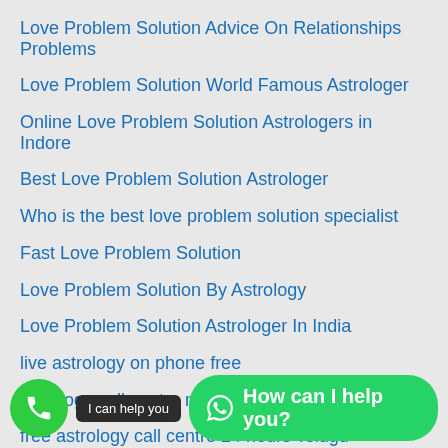Love Problem Solution Advice On Relationships Problems
Love Problem Solution World Famous Astrologer
Online Love Problem Solution Astrologers in Indore
Best Love Problem Solution Astrologer
Who is the best love problem solution specialist
Fast Love Problem Solution
Love Problem Solution By Astrology
Love Problem Solution Astrologer In India
live astrology on phone free
astrology call centre number
free astrology call centre 24 hours Telugu
free astrology call centre 24 hours
free astrology helpline number
free astrology on WhatsApp
free astrology consultation chat